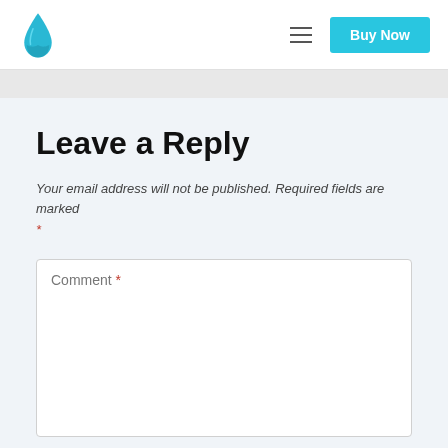Buy Now
Leave a Reply
Your email address will not be published. Required fields are marked *
Comment *